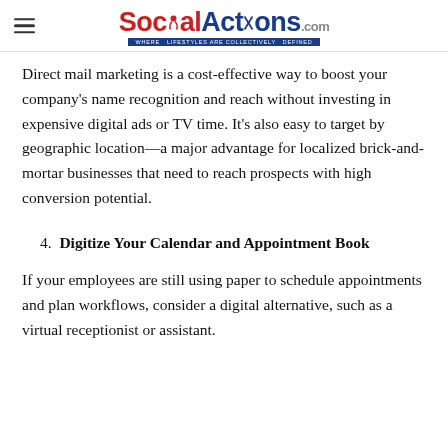SocialActions.com — WHERE LIFESTYLES ARE COLLECTIVELY DEFINED
Direct mail marketing is a cost-effective way to boost your company's name recognition and reach without investing in expensive digital ads or TV time. It's also easy to target by geographic location—a major advantage for localized brick-and-mortar businesses that need to reach prospects with high conversion potential.
4. Digitize Your Calendar and Appointment Book
If your employees are still using paper to schedule appointments and plan workflows, consider a digital alternative, such as a virtual receptionist or assistant.